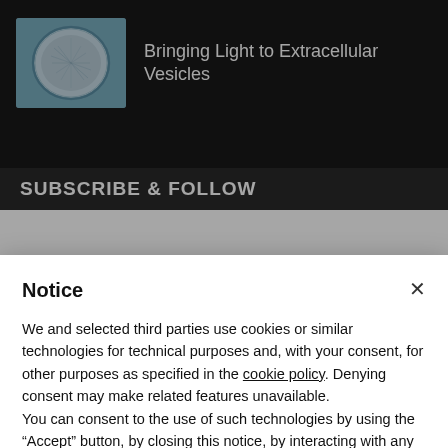[Figure (photo): Microscopy image of an extracellular vesicle, shown as a circular cell-like structure with fibrous internal texture on a light blue-grey background]
Bringing Light to Extracellular Vesicles
SUBSCRIBE & FOLLOW
Notice
We and selected third parties use cookies or similar technologies for technical purposes and, with your consent, for other purposes as specified in the cookie policy. Denying consent may make related features unavailable.
You can consent to the use of such technologies by using the “Accept” button, by closing this notice, by interacting with any link or button outside of this notice or by continuing to browse otherwise.
Accept
Learn more and customize